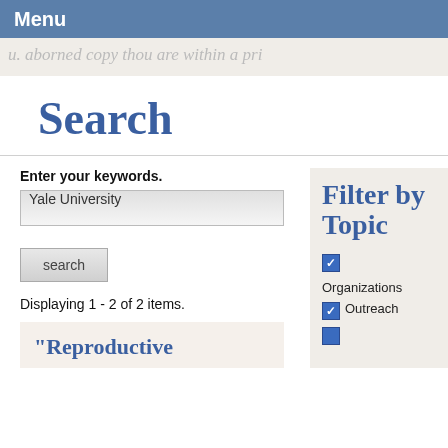Menu
[Figure (other): Handwritten script text background band, light tan/beige color with cursive text partially visible]
Search
Enter your keywords.
Yale University
search
Displaying 1 - 2 of 2 items.
“Reproductive
Filter by Topic
Organizations
Outreach